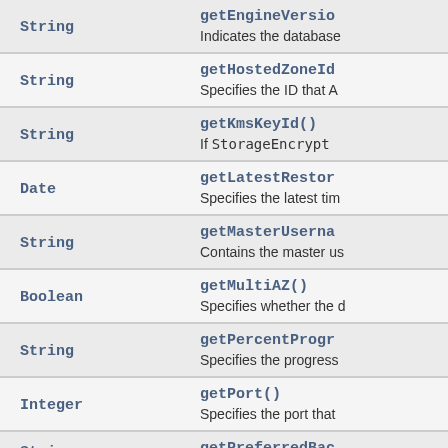| Type | Method |
| --- | --- |
| String | getEngineVersion()
Indicates the database |
| String | getHostedZoneId()
Specifies the ID that A |
| String | getKmsKeyId()
If StorageEncrypt |
| Date | getLatestRestor()
Specifies the latest tim |
| String | getMasterUserna()
Contains the master us |
| Boolean | getMultiAZ()
Specifies whether the d |
| String | getPercentProgr()
Specifies the progress |
| Integer | getPort()
Specifies the port that |
| String | getPreferredBac |